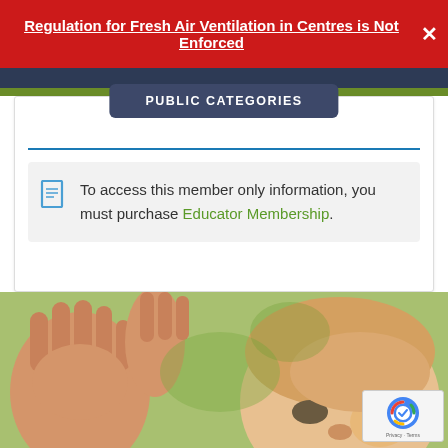Regulation for Fresh Air Ventilation in Centres is Not Enforced
PUBLIC CATEGORIES
To access this member only information, you must purchase Educator Membership.
READ MORE »
[Figure (photo): Close-up photo of two young children, one with hands raised near face, the other a toddler showing face in foreground, outdoors with green background]